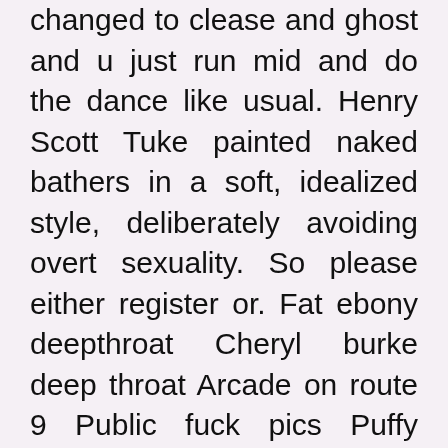changed to clease and ghost and u just run mid and do the dance like usual. Henry Scott Tuke painted naked bathers in a soft, idealized style, deliberately avoiding overt sexuality. So please either register or. Fat ebony deepthroat Cheryl burke deep throat Arcade on route 9 Public fuck pics Puffy nipples voyeur.
Naked girls outdoors tumblr My name is Beatrice. Age: Pleasing attitude and I am super playful More girls. My name Pasqualina.
My name Charlotte. A dream come true for the discerning gentleman who truly enjoys the company of a mature and sensuous woman with a playful spirit and long sexy legs in stockings, garters and high heels Video.
Views: Date: Category: Voyeur. User Comments 2 Post a comment Comment: In order to post a